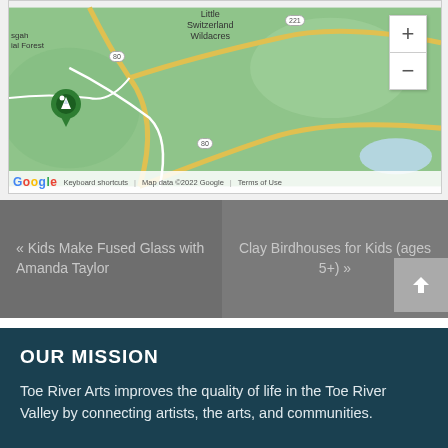[Figure (map): Google Maps screenshot showing area around Little Switzerland, Wildacres, NC with roads 221 and 80, green terrain, a location pin, zoom controls, and map attribution.]
« Kids Make Fused Glass with Amanda Taylor
Clay Birdhouses for Kids (ages 5+) »
OUR MISSION
Toe River Arts improves the quality of life in the Toe River Valley by connecting artists, the arts, and communities.